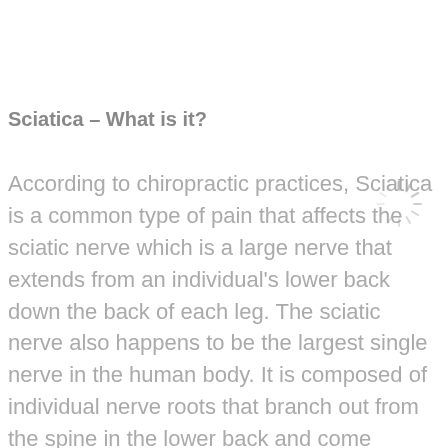Sciatica – What is it?
[Figure (illustration): A loading spinner icon (circular dashed/radial lines pattern in light gray)]
According to chiropractic practices, Sciatica is a common type of pain that affects the sciatic nerve which is a large nerve that extends from an individual's lower back down the back of each leg. The sciatic nerve also happens to be the largest single nerve in the human body. It is composed of individual nerve roots that branch out from the spine in the lower back and come together to form the sciatic nerve.